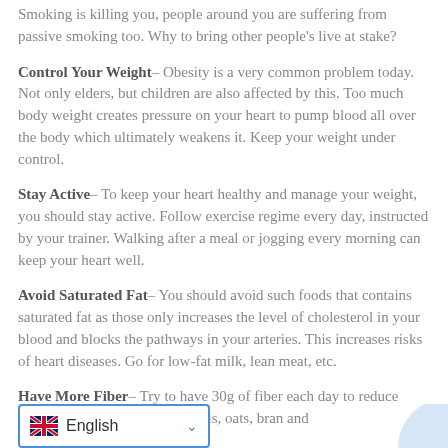Smoking is killing you, people around you are suffering from passive smoking too. Why to bring other people's live at stake?
Control Your Weight– Obesity is a very common problem today. Not only elders, but children are also affected by this. Too much body weight creates pressure on your heart to pump blood all over the body which ultimately weakens it. Keep your weight under control.
Stay Active– To keep your heart healthy and manage your weight, you should stay active. Follow exercise regime every day, instructed by your trainer. Walking after a meal or jogging every morning can keep your heart well.
Avoid Saturated Fat– You should avoid such foods that contains saturated fat as those only increases the level of cholesterol in your blood and blocks the pathways in your arteries. This increases risks of heart diseases. Go for low-fat milk, lean meat, etc.
Have More Fiber– Try to have 30g of fiber each day to reduce coronary diseases at the … n cereals, oats, bran and